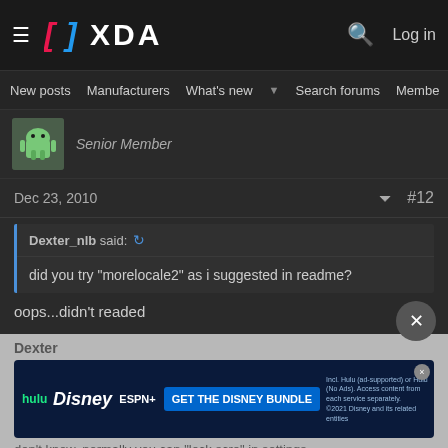XDA Developers forum navigation bar with logo, search, login, New posts, Manufacturers, What's new, Search forums, Members
Senior Member
Dec 23, 2010  #12
Dexter_nlb said:
did you try "morelocale2" as i suggested in readme?
oops...didn't readed
Dexter
[Figure (screenshot): Disney Bundle advertisement banner: Hulu, Disney+, ESPN+ logos with 'GET THE DISNEY BUNDLE' CTA button. Fine print: Incl. Hulu (ad-supported) or Hulu (No Ads). Access content from each service separately. ©2021 Disney and its related entities]
don't know, normally you can "lock scre" in settings...